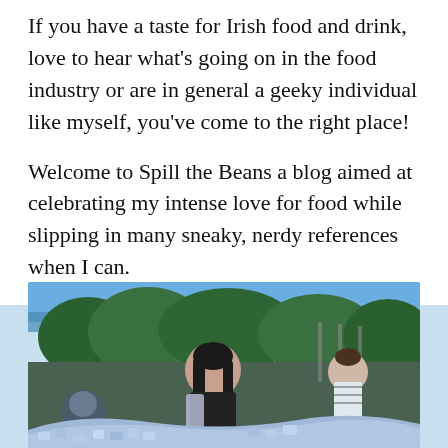If you have a taste for Irish food and drink, love to hear what's going on in the food industry or are in general a geeky individual like myself, you've come to the right place!
Welcome to Spill the Beans a blog aimed at celebrating my intense love for food while slipping in many sneaky, nerdy references when I can.
[Figure (photo): A young woman with dark hair smiling, standing in front of a mosaic structure (possibly Park Güell, Barcelona), with green trees and blue sky in the background and other visitors visible.]